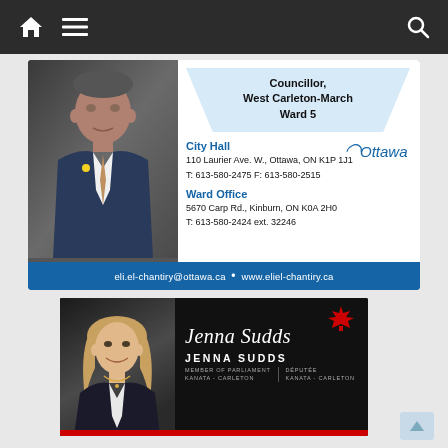[Figure (screenshot): Mobile website navigation bar with home icon, hamburger menu icon, and search icon on dark background]
[Figure (infographic): Contact card for Councillor Eli El-Chantiry, West Carleton-March Ward 5. Photo of councillor in suit. City Hall: 110 Laurier Ave. W., Ottawa, ON K1P 1J1, T: 613-580-2475 F: 613-580-2515. Ward Office: 5670 Carp Rd., Kinburn, ON K0A 2H0, T: 613-580-2424 ext. 32246. Email: eli.el-chantiry@ottawa.ca, Website: www.eliel-chantiry.ca]
[Figure (infographic): Advertisement for Jenna Sudds, Member of Parliament, Kanata-Carleton / Députée Kanata-Carleton. Black background with photo of Jenna Sudds, signature script text, maple leaf logo, and red bar at bottom.]